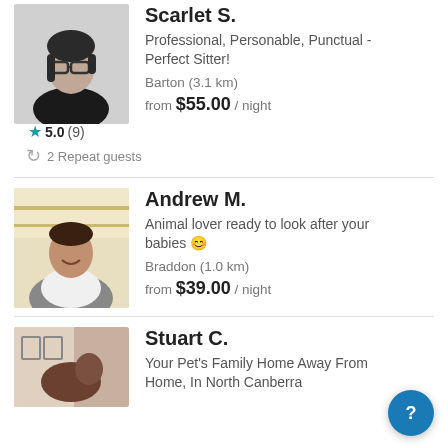[Figure (photo): Profile photo of Scarlet S., a woman with glasses and dark hair wearing a black top, black and white photo]
Scarlet S.
Professional, Personable, Punctual - Perfect Sitter!
Barton (3.1 km)
from $55.00 / night
5.0 (9)
2 Repeat guests
[Figure (photo): Profile photo of Andrew M., a young man smiling, wearing a white and grey raglan t-shirt, shelves visible in background]
Andrew M.
Animal lover ready to look after your babies 😊
Braddon (1.0 km)
from $39.00 / night
[Figure (photo): Profile photo of Stuart C., partially visible, appears to show a person with an animal in a home setting]
Stuart C.
Your Pet's Family Home Away From Home, In North Canberra